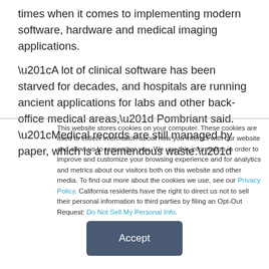times when it comes to implementing modern software, hardware and medical imaging applications.
“A lot of clinical software has been starved for decades, and hospitals are running ancient applications for labs and other back-office medical areas,” Pombriant said. “Medical records are still managed by paper, which is a tremendous waste.”
This website stores cookies on your computer. These cookies are used to collect information about how you interact with our website and allow us to remember you. We use this information in order to improve and customize your browsing experience and for analytics and metrics about our visitors both on this website and other media. To find out more about the cookies we use, see our Privacy Policy. California residents have the right to direct us not to sell their personal information to third parties by filing an Opt-Out Request: Do Not Sell My Personal Info.